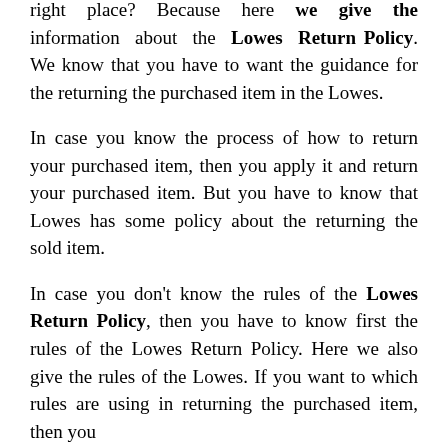right place? Because here we give the information about the Lowes Return Policy. We know that you have to want the guidance for the returning the purchased item in the Lowes.
In case you know the process of how to return your purchased item, then you apply it and return your purchased item. But you have to know that Lowes has some policy about the returning the sold item.
In case you don't know the rules of the Lowes Return Policy, then you have to know first the rules of the Lowes Return Policy. Here we also give the rules of the Lowes. If you want to which rules are using in returning the purchased item, then you